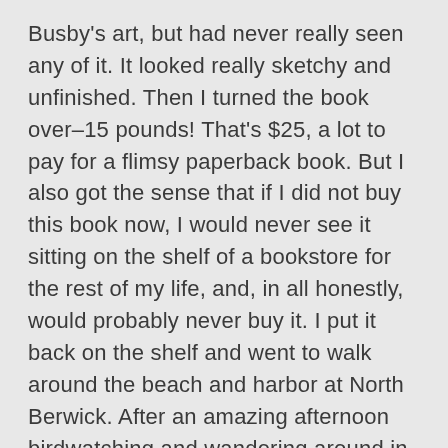Busby's art, but had never really seen any of it. It looked really sketchy and unfinished. Then I turned the book over–15 pounds! That's $25, a lot to pay for a flimsy paperback book. But I also got the sense that if I did not buy this book now, I would never see it sitting on the shelf of a bookstore for the rest of my life, and, in all honestly, would probably never buy it. I put it back on the shelf and went to walk around the beach and harbor at North Berwick. After an amazing afternoon birdwatching and wandering around in one of the most beautiful landscapes I have ever been in, I returned to the Scottish Seabird Centre, made the final decisions on what gifts I would buy, and decided to buy Looking at Birds, too.